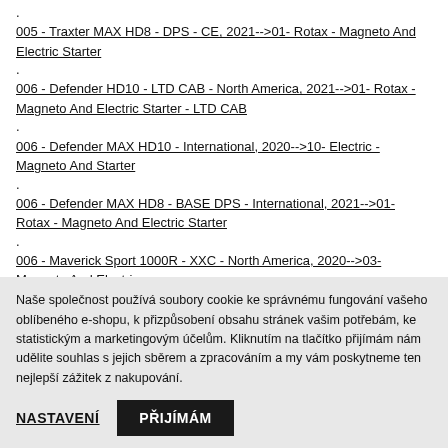.
005 - Traxter MAX HD8 - DPS - CE, 2021-->01- Rotax - Magneto And Electric Starter
.
006 - Defender HD10 - LTD CAB - North America, 2021-->01- Rotax - Magneto And Electric Starter - LTD CAB
.
006 - Defender MAX HD10 - International, 2020-->10- Electric - Magneto And Starter
.
006 - Defender MAX HD8 - BASE_DPS - International, 2021-->01- Rotax - Magneto And Electric Starter
.
006 - Maverick Sport 1000R - XXC - North America, 2020-->03- Magneto And Electric
Naše společnost používá soubory cookie ke správnému fungování vašeho oblíbeného e-shopu, k přizpůsobení obsahu stránek vašim potřebám, ke statistickým a marketingovým účelům. Kliknutím na tlačítko přijímám nám udělite souhlas s jejich sběrem a zpracováním a my vám poskytneme ten nejlepší zážitek z nakupování.
NASTAVENÍ
PŘIJÍMÁM